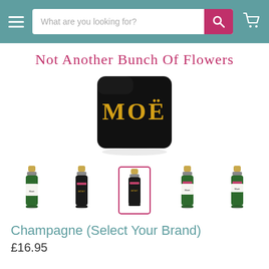What are you looking for?
Not Another Bunch Of Flowers
[Figure (photo): Close-up of a Moët champagne bottle/box showing 'MOET' text in gold on black background]
[Figure (photo): Row of 5 small Moët & Chandon champagne bottle thumbnails; the third one is selected with a pink border]
Champagne (Select Your Brand)
£16.95